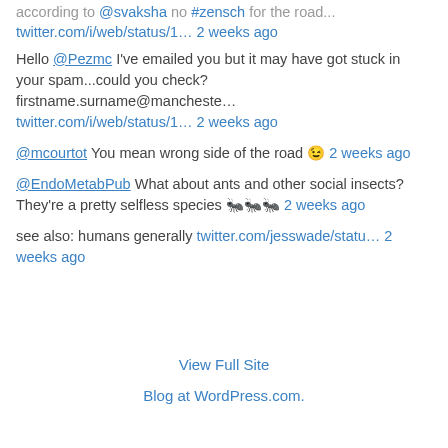according to @svaksha no #zensch for the road... twitter.com/i/web/status/1… 2 weeks ago
Hello @Pezmc I've emailed you but it may have got stuck in your spam...could you check? firstname.surname@mancheste… twitter.com/i/web/status/1… 2 weeks ago
@mcourtot You mean wrong side of the road 😉 2 weeks ago
@EndoMetabPub What about ants and other social insects? They're a pretty selfless species 🐜🐜🐜 2 weeks ago
see also: humans generally twitter.com/jesswade/statu… 2 weeks ago
View Full Site
Blog at WordPress.com.